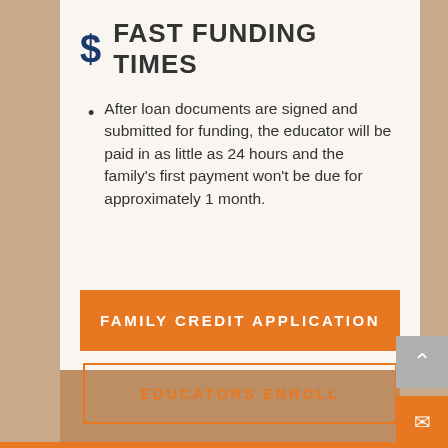FAST FUNDING TIMES
After loan documents are signed and submitted for funding, the educator will be paid in as little as 24 hours and the family's first payment won't be due for approximately 1 month.
FAMILY CREDIT APPLICATION
EDUCATORS ENROLL